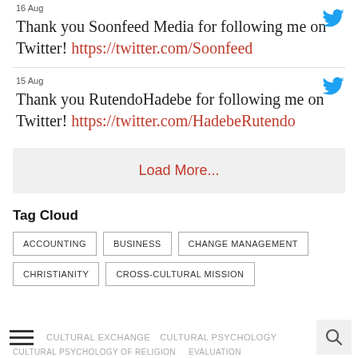16 Aug
Thank you Soonfeed Media for following me on Twitter! https://twitter.com/Soonfeed
15 Aug
Thank you RutendoHadebe for following me on Twitter! https://twitter.com/HadebeRutendo
Load More...
Tag Cloud
ACCOUNTING
BUSINESS
CHANGE MANAGEMENT
CHRISTIANITY
CROSS-CULTURAL MISSION
CULTURAL EXCHANGE
CULTURAL PSYCHOLOGY
CULTURAL PSYCHOLOGY OF RELIGION
EVALUATION